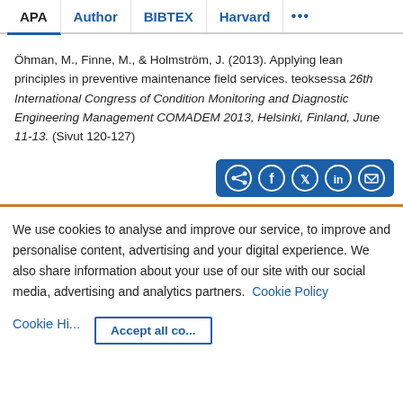APA | Author | BIBTEX | Harvard | ...
Öhman, M., Finne, M., & Holmström, J. (2013). Applying lean principles in preventive maintenance field services. teoksessa 26th International Congress of Condition Monitoring and Diagnostic Engineering Management COMADEM 2013, Helsinki, Finland, June 11-13. (Sivut 120-127)
[Figure (other): Social share button group with icons for share, Facebook, Twitter, LinkedIn, and email on a blue background]
We use cookies to analyse and improve our service, to improve and personalise content, advertising and your digital experience. We also share information about your use of our site with our social media, advertising and analytics partners.  Cookie Policy
Cookie Hi... | Accept all cookies